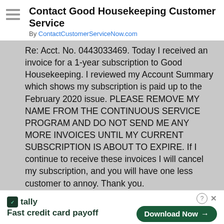Contact Good Housekeeping Customer Service
By ContactCustomerServiceNow.com
Re: Acct. No. 0443033469. Today I received an invoice for a 1-year subscription to Good Housekeeping. I reviewed my Account Summary which shows my subscription is paid up to the February 2020 issue. PLEASE REMOVE MY NAME FROM THE CONTINUOUS SERVICE PROGRAM AND DO NOT SEND ME ANY MORE INVOICES UNTIL MY CURRENT SUBSCRIPTION IS ABOUT TO EXPIRE. If I continue to receive these invoices I will cancel my subscription, and you will have one less customer to annoy. Thank you.
Reply
395. Charlie Lao says:
December 7, 2018 at 6:14 pm
i never ask to be a member for the second time here in Good Housekeeping magazine,they just keep on sendfing you this is a scaM AND FRAUD????? AND